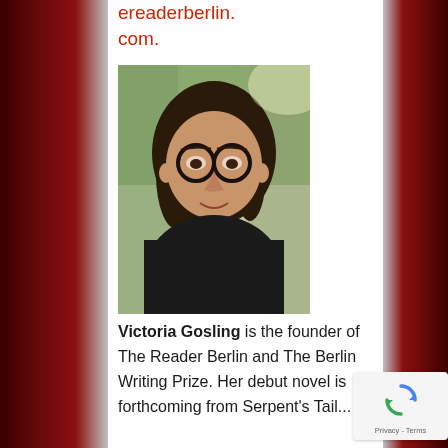ereaderberlin.com.
[Figure (photo): Portrait photo of Victoria Gosling, a woman with dark hair and round glasses, wearing a black top, photographed outdoors.]
Victoria Gosling is the founder of The Reader Berlin and The Berlin Writing Prize. Her debut novel is forthcoming from Serpent's Tail...